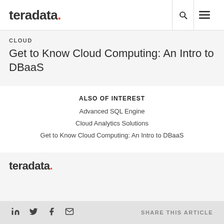teradata. [logo with search and menu icons]
CLOUD
Get to Know Cloud Computing: An Intro to DBaaS
ALSO OF INTEREST
Advanced SQL Engine
Cloud Analytics Solutions
Get to Know Cloud Computing: An Intro to DBaaS
[Figure (logo): Teradata logo in footer]
SHARE THIS ARTICLE [LinkedIn, Twitter, Facebook, Email icons]